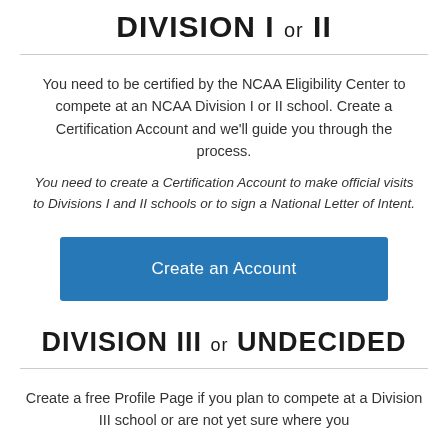DIVISION I or II
You need to be certified by the NCAA Eligibility Center to compete at an NCAA Division I or II school. Create a Certification Account and we'll guide you through the process.
You need to create a Certification Account to make official visits to Divisions I and II schools or to sign a National Letter of Intent.
[Figure (other): Blue button labeled 'Create an Account']
DIVISION III or UNDECIDED
Create a free Profile Page if you plan to compete at a Division III school or are not yet sure where you